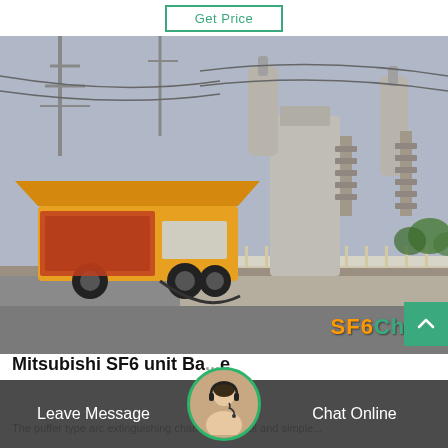[Figure (other): Get Price button at the top of a product listing page]
[Figure (photo): Yellow utility/service truck parked at a high-voltage electrical substation with large transformers, insulators, and transmission line structures in the background. SF6China watermark visible in the lower right corner.]
Mitsubishi SF6 unit Ba...e
The puffer type arc extinguishing chamber is small and simple...
Leave Message | Chat Online